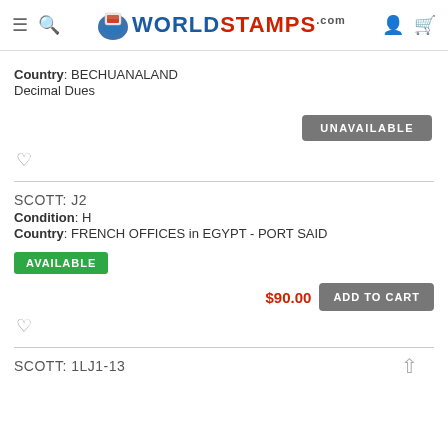WorldStamps.com
Country: BECHUANALAND
Decimal Dues
UNAVAILABLE
SCOTT: J2
Condition: H
Country: FRENCH OFFICES in EGYPT - PORT SAID
AVAILABLE
$90.00  ADD TO CART
SCOTT: 1LJ1-13